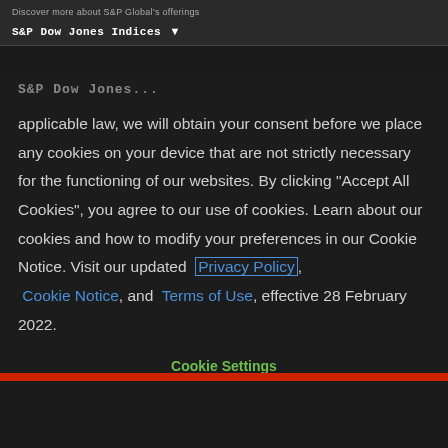Discover more about S&P Global's offerings
S&P Dow Jones Indices ▾
applicable law, we will obtain your consent before we place any cookies on your device that are not strictly necessary for the functioning of our websites. By clicking "Accept All Cookies", you agree to our use of cookies. Learn about our cookies and how to modify your preferences in our Cookie Notice. Visit our updated Privacy Policy, Cookie Notice, and Terms of Use, effective 28 February 2022.
Cookie Settings